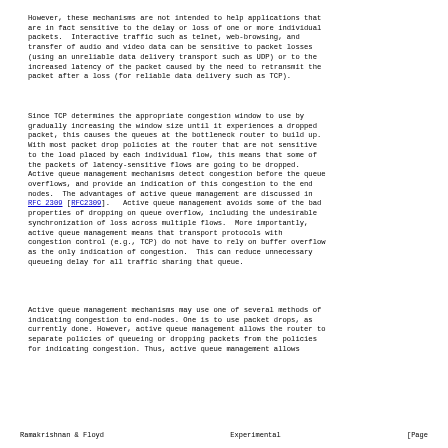However, these mechanisms are not intended to help applications that are in fact sensitive to the delay or loss of one or more individual packets.  Interactive traffic such as telnet, web-browsing, and transfer of audio and video data can be sensitive to packet losses (using an unreliable data delivery transport such as UDP) or to the increased latency of the packet caused by the need to retransmit the packet after a loss (for reliable data delivery such as TCP).
Since TCP determines the appropriate congestion window to use by gradually increasing the window size until it experiences a dropped packet, this causes the queues at the bottleneck router to build up. With most packet drop policies at the router that are not sensitive to the load placed by each individual flow, this means that some of the packets of latency-sensitive flows are going to be dropped. Active queue management mechanisms detect congestion before the queue overflows, and provide an indication of this congestion to the end nodes.  The advantages of active queue management are discussed in RFC 2309 [RFC2309].   Active queue management avoids some of the bad properties of dropping on queue overflow, including the undesirable synchronization of loss across multiple flows.  More importantly, active queue management means that transport protocols with congestion control (e.g., TCP) do not have to rely on buffer overflow as the only indication of congestion.  This can reduce unnecessary queueing delay for all traffic sharing that queue.
Active queue management mechanisms may use one of several methods of indicating congestion to end-nodes. One is to use packet drops, as currently done. However, active queue management allows the router to separate policies of queueing or dropping packets from the policies for indicating congestion. Thus, active queue management allows
Ramakrishnan & Floyd          Experimental                    [Page